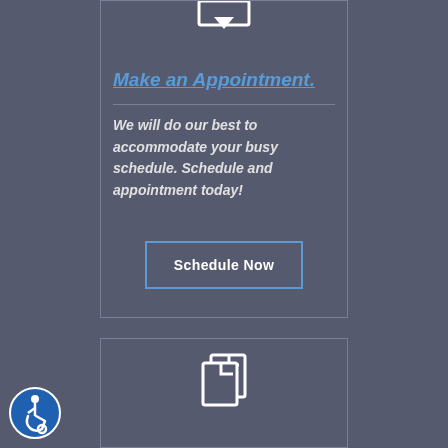[Figure (illustration): Download/inbox icon with downward arrow, white outline style on dark background]
Make an Appointment.
We will do our best to accommodate your busy schedule. Schedule and appointment today!
[Figure (illustration): Schedule Now button with blue border outline]
[Figure (illustration): Two overlapping document/file pages icon, white outline style on dark background]
[Figure (illustration): Accessibility wheelchair icon badge in blue circle, bottom left corner]